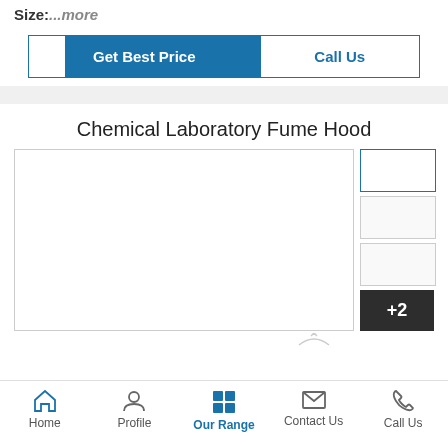Size:...more
[Figure (screenshot): Two call-to-action buttons: 'Get Best Price' (blue filled) and 'Call Us' (blue outline with blue icon strip)]
Chemical Laboratory Fume Hood
[Figure (photo): Product image gallery showing main large image area with white background and three thumbnails on the right side. First thumbnail has blue border (selected), second and third have grey borders. A fourth thumbnail shows '+2' overlay indicating more images.]
Home  Profile  Our Range  Contact Us  Call Us